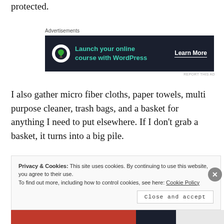protected.
[Figure (infographic): Advertisement banner for 'Launch your online course with WordPress' with a Learn More button on dark background]
I also gather micro fiber cloths, paper towels, multi purpose cleaner, trash bags, and a basket for anything I need to put elsewhere. If I don't grab a basket, it turns into a big pile.
Privacy & Cookies: This site uses cookies. By continuing to use this website, you agree to their use. To find out more, including how to control cookies, see here: Cookie Policy
Close and accept